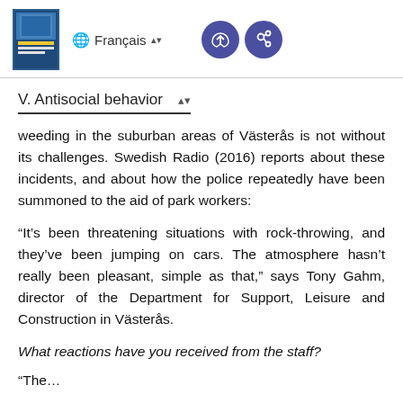Français [book cover and navigation icons]
V. Antisocial behavior
weeding in the suburban areas of Västerås is not without its challenges. Swedish Radio (2016) reports about these incidents, and about how the police repeatedly have been summoned to the aid of park workers:
“It’s been threatening situations with rock-throwing, and they’ve been jumping on cars. The atmosphere hasn’t really been pleasant, simple as that,” says Tony Gahm, director of the Department for Support, Leisure and Construction in Västerås.
What reactions have you received from the staff?
“The…